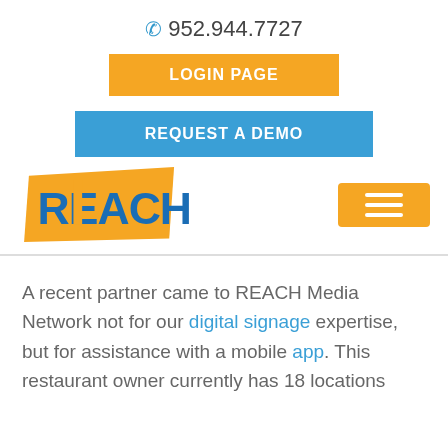952.944.7727
[Figure (screenshot): Orange LOGIN PAGE button]
[Figure (screenshot): Blue REQUEST A DEMO button]
[Figure (logo): REACH Media Network logo with orange banner and blue text]
[Figure (other): Orange hamburger menu button with three white lines]
A recent partner came to REACH Media Network not for our digital signage expertise, but for assistance with a mobile app. This restaurant owner currently has 18 locations